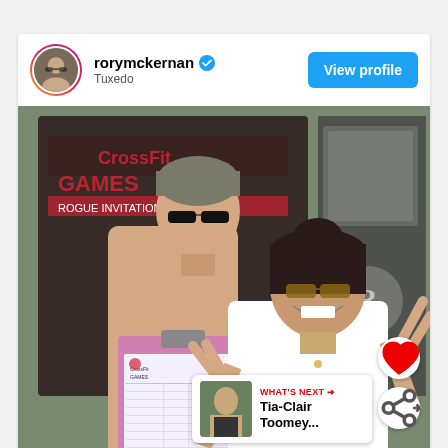rorymckernan [verified] · Tuxedo
View profile
[Figure (photo): Two people posing outdoors in front of a gym/CrossFit Games backdrop. A shirtless man with gray-streaked hair and sunglasses holds a pink clipboard with a document/scoresheet. A woman in a white tank top with sunglasses makes peace signs with both hands and smiles broadly. Background shows branded banners and merchandise.]
WHAT'S NEXT → Tia-Clair Toomey...